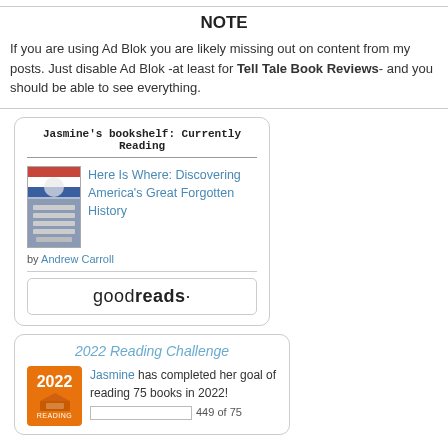NOTE
If you are using Ad Blok you are likely missing out on content from my posts. Just disable Ad Blok -at least for Tell Tale Book Reviews- and you should be able to see everything.
[Figure (infographic): Goodreads widget showing Jasmine's bookshelf: Currently Reading, with book 'Here Is Where: Discovering America's Great Forgotten History' by Andrew Carroll, and a Goodreads button]
[Figure (infographic): 2022 Reading Challenge widget showing Jasmine has completed her goal of reading 75 books in 2022, with orange 2022 badge and partial progress bar]